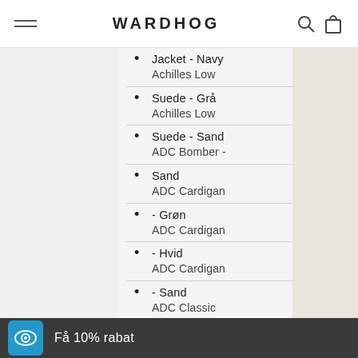WARDHOG
Jacket - Navy Achilles Low
Suede - Grå Achilles Low
Suede - Sand ADC Bomber -
Sand ADC Cardigan
- Grøn ADC Cardigan
- Hvid ADC Cardigan
- Sand ADC Classic
Scarf - Grå
Få 10% rabat